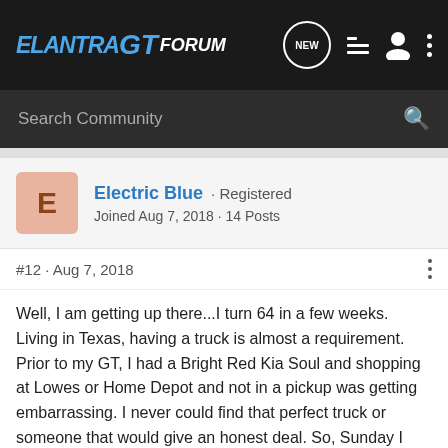ELANTRA GT Forum
Search Community
Electric Blue · Registered
Joined Aug 7, 2018 · 14 Posts
#12 · Aug 7, 2018
Well, I am getting up there...I turn 64 in a few weeks. Living in Texas, having a truck is almost a requirement. Prior to my GT, I had a Bright Red Kia Soul and shopping at Lowes or Home Depot and not in a pickup was getting embarrassing. I never could find that perfect truck or someone that would give an honest deal. So, Sunday I wandered the new car lots looking for something that wasn't a sedan or SUV or CUV. That Electric Blue Metallic caught my attention so I walked over to see what it was. At first I thought it was a Veloster, but it was too long. An Elantra?? That is what our daughter has, but this was quite